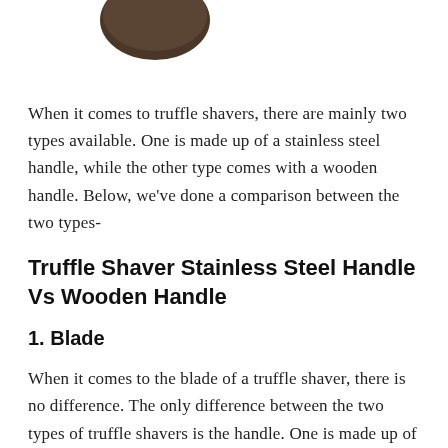[Figure (photo): Partial image showing truffle shaver products including a wooden-handled truffle shaver with truffles and a stainless steel shaver blade, cropped at top of page.]
When it comes to truffle shavers, there are mainly two types available. One is made up of a stainless steel handle, while the other type comes with a wooden handle. Below, we've done a comparison between the two types-
Truffle Shaver Stainless Steel Handle Vs Wooden Handle
1. Blade
When it comes to the blade of a truffle shaver, there is no difference. The only difference between the two types of truffle shavers is the handle. One is made up of stainless steel, and the other is made up of wood.